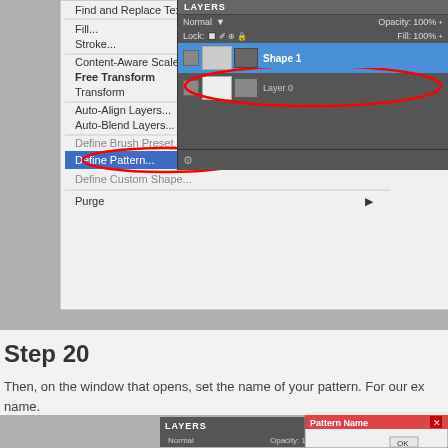[Figure (screenshot): Photoshop Edit menu showing 'Define Pattern...' option highlighted in blue, with red circle around it. Layers panel visible top-right showing 'Shape 1' layer highlighted in blue with red circle around it. Canvas area visible in background.]
Step 20
Then, on the window that opens, set the name of your pattern. For our ex name.
[Figure (screenshot): Bottom screenshot showing Photoshop canvas with Layers panel (Normal, Opacity 100%, Lock, Fill 100%) and Pattern Name dialog box with OK button.]